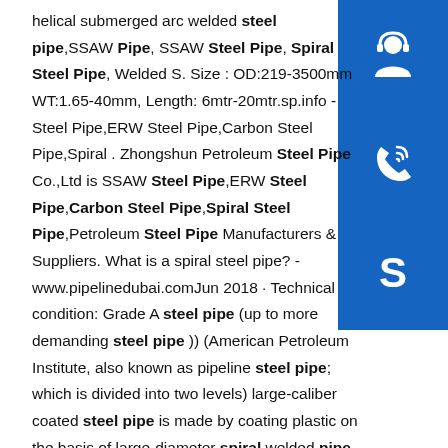helical submerged arc welded steel pipe,SSAW Pipe, SSAW Steel Pipe, Spiral Steel Pipe, Welded S. Size : OD:219-3500mm WT:1.65-40mm, Length: 6mtr-20mtr.sp.info - Steel Pipe,ERW Steel Pipe,Carbon Steel Pipe,Spiral . Zhongshun Petroleum Steel Pipe Co.,Ltd is SSAW Steel Pipe,ERW Steel Pipe,Carbon Steel Pipe,Spiral Steel Pipe,Petroleum Steel Pipe Manufacturers & Suppliers. What is a spiral steel pipe? - www.pipelinedubai.comJun 2018 · Technical condition: Grade A steel pipe (up to more demanding steel pipe )) (American Petroleum Institute, also known as pipeline steel pipe; which is divided into two levels) large-caliber coated steel pipe is made by coating plastic on the basis of large-diameter spiral welded pipe and high-frequency welded pipe, if the diameter of the steel pipe reaches …Estimated Reading Time: 7 minssp.info Top
[Figure (illustration): Blue square icon with white customer support / headset person silhouette]
[Figure (illustration): Blue square icon with white telephone / call waves symbol]
[Figure (illustration): Blue square icon with white Skype logo]